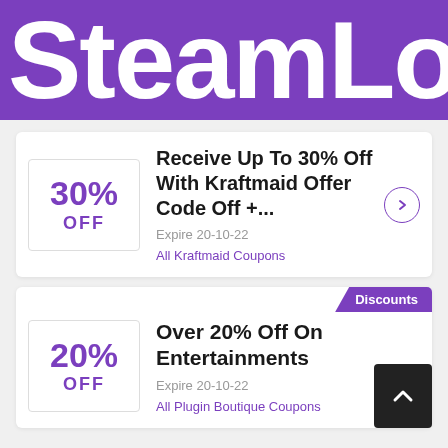SteamLo
[Figure (infographic): Coupon card: 30% OFF - Receive Up To 30% Off With Kraftmaid Offer Code Off +... Expire 20-10-22. All Kraftmaid Coupons.]
[Figure (infographic): Coupon card with Discounts badge: 20% OFF - Over 20% Off On Entertainments. Expire 20-10-22. All Plugin Boutique Coupons. Scroll-to-top button.]